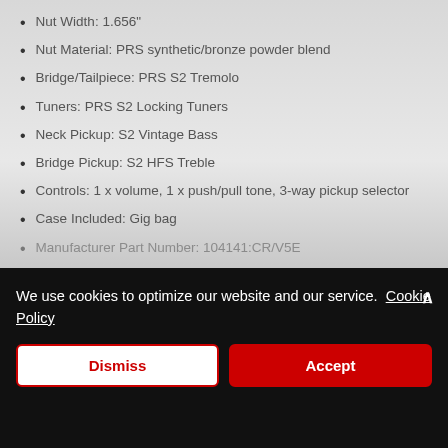Nut Width: 1.656"
Nut Material: PRS synthetic/bronze powder blend
Bridge/Tailpiece: PRS S2 Tremolo
Tuners: PRS S2 Locking Tuners
Neck Pickup: S2 Vintage Bass
Bridge Pickup: S2 HFS Treble
Controls: 1 x volume, 1 x push/pull tone, 3-way pickup selector
Case Included: Gig bag
Manufacturer Part Number: 104141:CR/V5E
We use cookies to optimize our website and our service. Cookie Policy
Dismiss
Accept